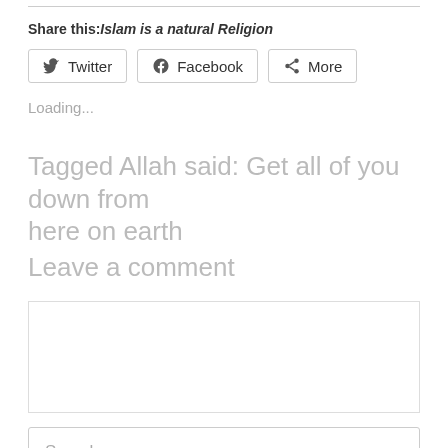Share this:Islam is a natural Religion
Twitter  Facebook  More
Loading...
Tagged Allah said: Get all of you down from here on earth
Leave a comment
Search ...